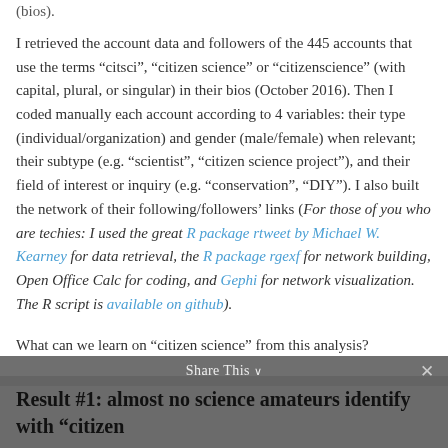(bios).
I retrieved the account data and followers of the 445 accounts that use the terms “citsci”, “citizen science” or “citizenscience” (with capital, plural, or singular) in their bios (October 2016). Then I coded manually each account according to 4 variables: their type (individual/organization) and gender (male/female) when relevant; their subtype (e.g. “scientist”, “citizen science project”), and their field of interest or inquiry (e.g. “conservation”, “DIY”). I also built the network of their following/followers’ links (For those of you who are techies: I used the great R package rtweet by Michael W. Kearney for data retrieval, the R package rgexf for network building, Open Office Calc for coding, and Gephi for network visualization. The R script is available on github).
What can we learn on “citizen science” from this analysis?
Result #1: almost no science amateurs identify with “citizen